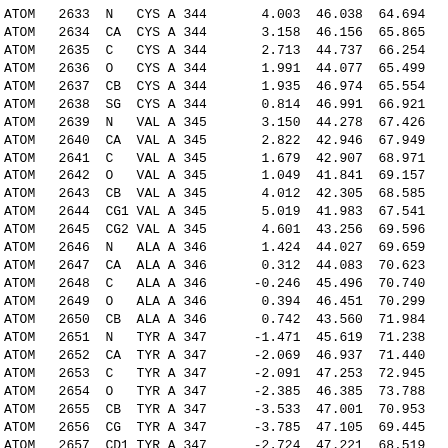| Record | Serial | Name | ResName | Chain | ResSeq | X | Y | Z |
| --- | --- | --- | --- | --- | --- | --- | --- | --- |
| ATOM | 2633 | N | CYS | A | 344 | 4.003 | 46.038 | 64.694 |
| ATOM | 2634 | CA | CYS | A | 344 | 3.158 | 46.156 | 65.865 |
| ATOM | 2635 | C | CYS | A | 344 | 2.713 | 44.737 | 66.254 |
| ATOM | 2636 | O | CYS | A | 344 | 1.991 | 44.077 | 65.499 |
| ATOM | 2637 | CB | CYS | A | 344 | 1.935 | 46.974 | 65.554 |
| ATOM | 2638 | SG | CYS | A | 344 | 0.814 | 46.991 | 66.921 |
| ATOM | 2639 | N | VAL | A | 345 | 3.150 | 44.278 | 67.426 |
| ATOM | 2640 | CA | VAL | A | 345 | 2.822 | 42.946 | 67.949 |
| ATOM | 2641 | C | VAL | A | 345 | 1.679 | 42.907 | 68.971 |
| ATOM | 2642 | O | VAL | A | 345 | 1.049 | 41.841 | 69.157 |
| ATOM | 2643 | CB | VAL | A | 345 | 4.012 | 42.305 | 68.585 |
| ATOM | 2644 | CG1 | VAL | A | 345 | 5.019 | 41.983 | 67.541 |
| ATOM | 2645 | CG2 | VAL | A | 345 | 4.601 | 43.256 | 69.596 |
| ATOM | 2646 | N | ALA | A | 346 | 1.424 | 44.027 | 69.659 |
| ATOM | 2647 | CA | ALA | A | 346 | 0.312 | 44.083 | 70.623 |
| ATOM | 2648 | C | ALA | A | 346 | -0.246 | 45.496 | 70.740 |
| ATOM | 2649 | O | ALA | A | 346 | 0.394 | 46.451 | 70.299 |
| ATOM | 2650 | CB | ALA | A | 346 | 0.742 | 43.560 | 71.984 |
| ATOM | 2651 | N | TYR | A | 347 | -1.471 | 45.619 | 71.238 |
| ATOM | 2652 | CA | TYR | A | 347 | -2.069 | 46.937 | 71.440 |
| ATOM | 2653 | C | TYR | A | 347 | -2.091 | 47.253 | 72.945 |
| ATOM | 2654 | O | TYR | A | 347 | -2.385 | 46.385 | 73.788 |
| ATOM | 2655 | CB | TYR | A | 347 | -3.533 | 47.001 | 70.953 |
| ATOM | 2656 | CG | TYR | A | 347 | -3.785 | 47.105 | 69.445 |
| ATOM | 2657 | CD1 | TYR | A | 347 | -2.724 | 47.221 | 68.519 |
| ATOM | 2658 | CD2 | TYR | A | 347 | -5.084 | 47.059 | 68.951 |
| ATOM | 2659 | CE1 | TYR | A | 347 | -2.965 | 47.280 | 67.140 |
| ATOM | 2660 | CE2 | TYR | A | 347 | -5.336 | 47.110 | 67.577 |
| ATOM | 2661 | CZ | TYR | A | 347 | -4.279 | 47.222 | 66.674 |
| ATOM | 2662 | OH | TYR | A | 347 | -4.575 | 47.237 | 65.326 |